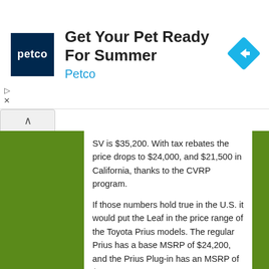[Figure (advertisement): Petco advertisement banner: 'Get Your Pet Ready For Summer' with Petco logo (navy blue square with white 'petco' text) and a blue diamond arrow icon on the right.]
SV is $35,200. With tax rebates the price drops to $24,000, and $21,500 in California, thanks to the CVRP program.
If those numbers hold true in the U.S. it would put the Leaf in the price range of the Toyota Prius models. The regular Prius has a base MSRP of $24,200, and the Prius Plug-in has an MSRP of $32,000.
Improved ergonomics: There are also a long list of styling upgrades and improvements, including: New wheel and wheel cover choices; LED headlights; Black interior option; the aforementioned leather seats option; a Highly concentrated Plasma Cluster Ion generator to eliminates odors and kill germs; Hill Start Assist which enables a driver to start the LEAF on a